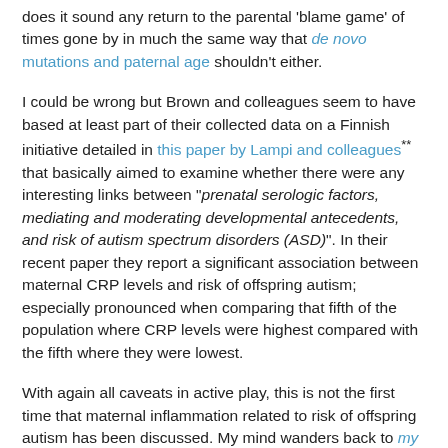does it sound any return to the parental 'blame game' of times gone by in much the same way that de novo mutations and paternal age shouldn't either.
I could be wrong but Brown and colleagues seem to have based at least part of their collected data on a Finnish initiative detailed in this paper by Lampi and colleagues** that basically aimed to examine whether there were any interesting links between "prenatal serologic factors, mediating and moderating developmental antecedents, and risk of autism spectrum disorders (ASD)". In their recent paper they report a significant association between maternal CRP levels and risk of offspring autism; especially pronounced when comparing that fifth of the population where CRP levels were highest compared with the fifth where they were lowest.
With again all caveats in active play, this is not the first time that maternal inflammation related to risk of offspring autism has been discussed. My mind wanders back to my 'you give me fever' post based on some interesting observations from the CHARGE initiative on mum's [retrospectively] reporting